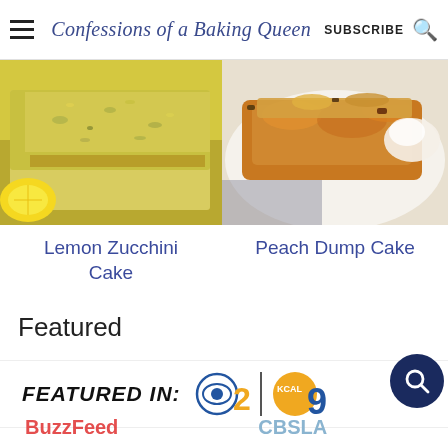Confessions of a Baking Queen | SUBSCRIBE
[Figure (photo): Photo of a sliced lemon zucchini loaf cake with lemon halves visible on the left side]
[Figure (photo): Photo of peach dump cake on a white plate with caramel sauce, served with ice cream]
Lemon Zucchini Cake
Peach Dump Cake
Featured
[Figure (logo): Featured In: CBS2 and KCAL9 logos with search circle overlay]
[Figure (logo): Partial BuzzFeed and CBSLA logos at bottom of page]